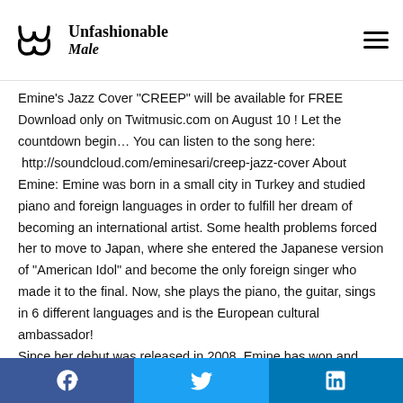Unfashionable Male
Emine's Jazz Cover "CREEP" will be available for FREE Download only on Twitmusic.com on August 10 ! Let the countdown begin… You can listen to the song here: http://soundcloud.com/eminesari/creep-jazz-cover About Emine: Emine was born in a small city in Turkey and studied piano and foreign languages in order to fulfill her dream of becoming an international artist. Some health problems forced her to move to Japan, where she entered the Japanese version of "American Idol" and become the only foreign singer who made it to the final. Now, she plays the piano, the guitar, sings in 6 different languages and is the European cultural ambassador! Since her debut was released in 2008, Emine has won and nominated countless awards including The Peoples Music
Facebook  Twitter  LinkedIn